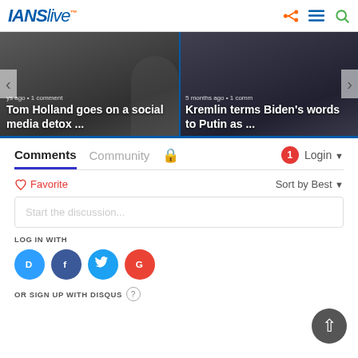[Figure (logo): IANS Live logo with orange dot]
[Figure (screenshot): Carousel with two news article previews: 'Tom Holland goes on a social media detox ...' and 'Kremlin terms Biden's words to Putin as ...']
Comments  Community  🔒   1  Login ▾
♡ Favorite    Sort by Best ▾
Start the discussion...
LOG IN WITH
[Figure (infographic): Social login icons: Disqus (D), Facebook (f), Twitter (bird), Google (G)]
OR SIGN UP WITH DISQUS ?